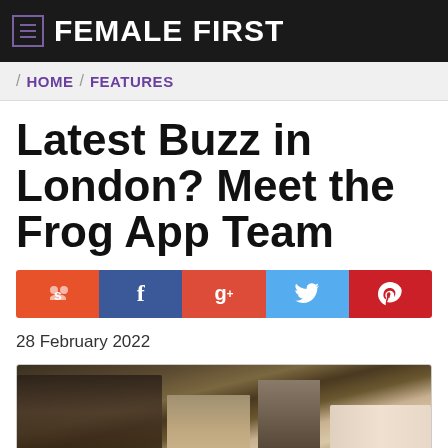FEMALE FIRST
HOME / FEATURES
Latest Buzz in London? Meet the Frog App Team
[Figure (infographic): Social sharing buttons: Stumbleupon, Facebook, Google Plus, Twitter, Pinterest]
28 February 2022
[Figure (photo): Street photo showing people walking, one carrying a bag, shot from low angle showing legs and bags]